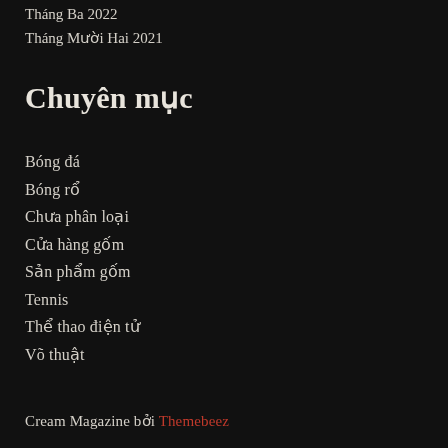Tháng Ba 2022
Tháng Mười Hai 2021
Chuyên mục
Bóng đá
Bóng rổ
Chưa phân loại
Cửa hàng gốm
Sản phẩm gốm
Tennis
Thể thao điện tử
Võ thuật
Cream Magazine bởi Themebeez